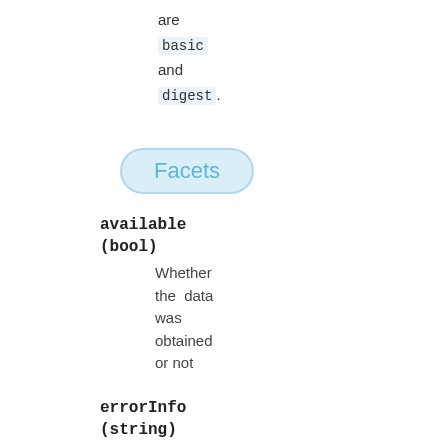are
basic
and
digest.
Facets
available (bool)
Whether the data was obtained or not
errorInfo (string)
Error message if there were issues